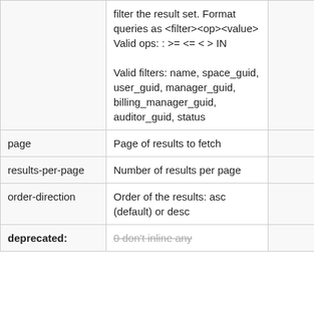|  | filter the result set. Format queries as <filter><op><value> Valid ops: : >= <= < > IN Valid filters: name, space_guid, user_guid, manager_guid, billing_manager_guid, auditor_guid, status |  | q=filter>value
q=filter IN a,b,c |
| page | Page of results to fetch |  |  |
| results-per-page | Number of results per page |  |  |
| order-direction | Order of the results: asc (default) or desc |  |  |
| deprecated: | 0 don't inline any |  |  |